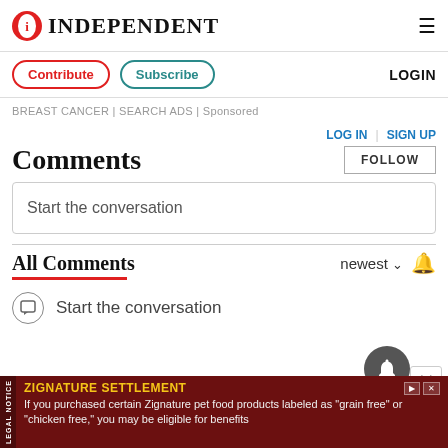INDEPENDENT
Contribute | Subscribe | LOGIN
BREAST CANCER | SEARCH ADS | Sponsored
LOG IN | SIGN UP
Comments
FOLLOW
Start the conversation
All Comments
newest
Start the conversation
ZIGNATURE SETTLEMENT
If you purchased certain Zignature pet food products labeled as "grain free" or "chicken free," you may be eligible for benefits